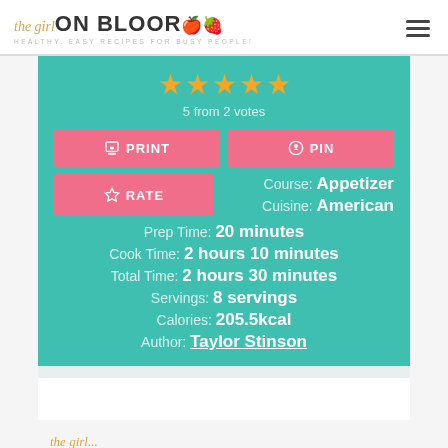the girl ON BLOOR - HEALTHY, EASY RECIPES FOR BUSY PEOPLE!
[Figure (other): 5 golden stars rating display]
5 from 2 votes
PRINT
PIN
RATE
Course: Appetizer
Cuisine: American
Prep Time: 20 minutes
Cook Time: 2 hours 10 minutes
Total Time: 2 hours 30 minutes
Servings: 8 servings
Calories: 205.5kcal
Author: Taylor Stinson